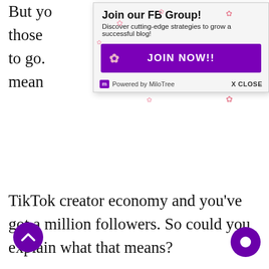But yo
those
to go.
mean
[Figure (screenshot): Popup banner: Join our FB Group! Discover cutting-edge strategies to grow a successful blog! JOIN NOW!! button. Powered by MiloTree. X CLOSE.]
TikTok creator economy and you’ve got a million followers. So could you explain what that means?
Keely Stawicki 39:14
Like we were talking about before we hopped on here, there are creators on there with hundreds of thousands millions of followers that only make like $1,000, because they don’t understand how to monetize it.
And honestly, the creative fund a lot of people think